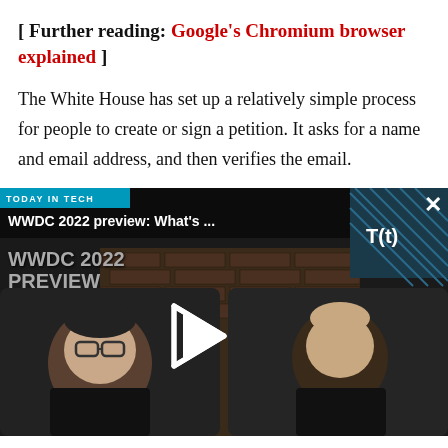[ Further reading: Google's Chromium browser explained ]
The White House has set up a relatively simple process for people to create or sign a petition. It asks for a name and email address, and then verifies the email.
[Figure (screenshot): Video thumbnail for 'WWDC 2022 preview: What's ...' from 'Today in Tech' series, showing two people in a video call with a play button overlay and T(t) logo.]